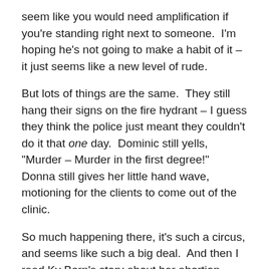seem like you would need amplification if you're standing right next to someone.  I'm hoping he's not going to make a habit of it – it just seems like a new level of rude.
But lots of things are the same.  They still hang their signs on the fire hydrant – I guess they think the police just meant they couldn't do it that one day.  Dominic still yells, "Murder – Murder in the first degree!"  Donna still gives her little hand wave, motioning for the clients to come out of the clinic.
So much happening there, it's such a circus, and seems like such a big deal.  And then I read Ky Born's story about her abortion experience and I'm reminded that the walk up the sidewalk is a tiny part of the "getting an abortion" process.   All this chaos is one tiny part.  That's a good perspective to hold on to.